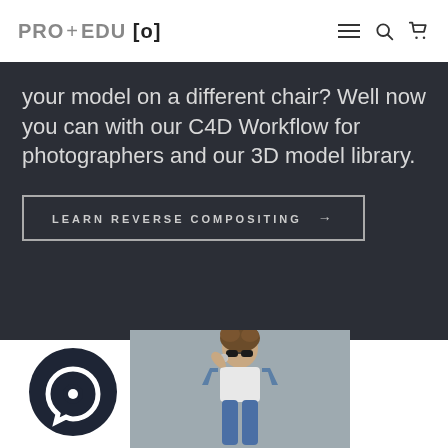PRO+EDU[o]
your model on a different chair? Well now you can with our C4D Workflow for photographers and our 3D model library.
LEARN REVERSE COMPOSITING →
[Figure (logo): PRO EDU circular logo mark — dark navy circle with a white circular arrow/chat bubble icon inside]
[Figure (photo): Fashion photo of a young woman with curly hair up, wearing sunglasses, white t-shirt and denim jacket, seated casually against a grey background]